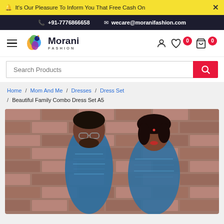🔔 It's Our Pleasure To Inform You That Free Cash On
📞 +91-7776866658   ✉ wecare@moranifashion.com
[Figure (logo): Morani Fashion logo with colorful peacock graphic and text 'Morani FASHION']
Search Products
Home / Mom And Me / Dresses / Dress Set / Beautiful Family Combo Dress Set A5
[Figure (photo): A man and woman wearing matching blue ikat print outfits, standing in front of a brick wall background.]